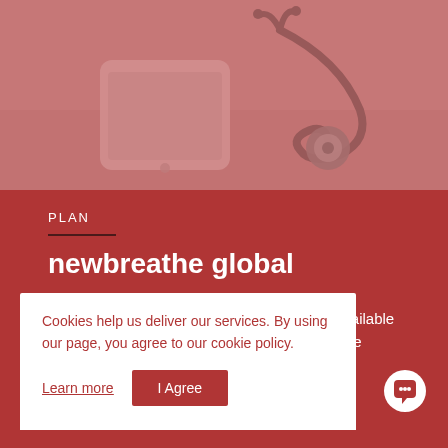[Figure (photo): Photo of a smartphone and stethoscope on a surface with a reddish-pink overlay, representing telemedicine or digital health.]
PLAN
newbreathe global
ls available
gh the
Cookies help us deliver our services. By using our page, you agree to our cookie policy.
Learn more
I Agree